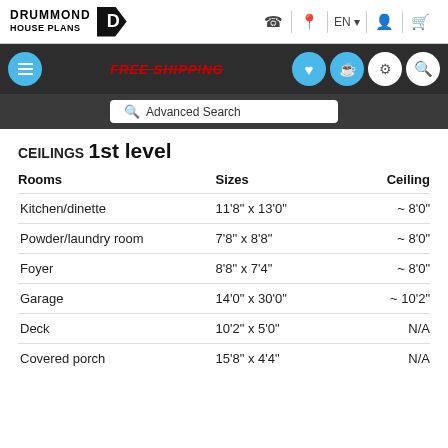DRUMMOND HOUSE PLANS
CEILINGS
1st level
| Rooms | Sizes | Ceiling |
| --- | --- | --- |
| Kitchen/dinette | 11'8" x 13'0" | ~ 8'0" |
| Powder/laundry room | 7'8" x 8'8" | ~ 8'0" |
| Foyer | 8'8" x 7'4" | ~ 8'0" |
| Garage | 14'0" x 30'0" | ~ 10'2" |
| Deck | 10'2" x 5'0" | N/A |
| Covered porch | 15'8" x 4'4" | N/A |